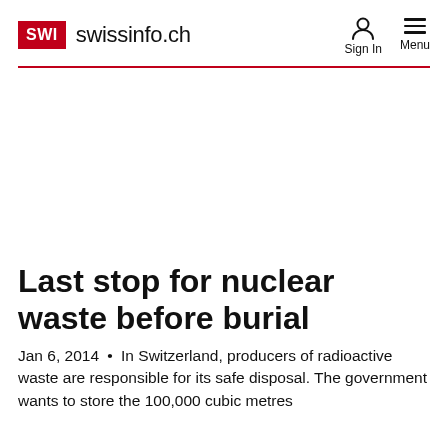SWI swissinfo.ch
[Figure (other): Advertisement / blank area]
Last stop for nuclear waste before burial
Jan 6, 2014 • In Switzerland, producers of radioactive waste are responsible for its safe disposal. The government wants to store the 100,000 cubic metres